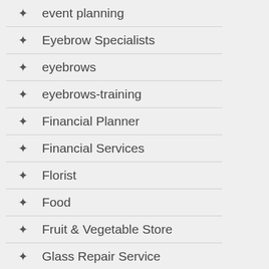event planning
Eyebrow Specialists
eyebrows
eyebrows-training
Financial Planner
Financial Services
Florist
Food
Fruit & Vegetable Store
Glass Repair Service
Health & Medical
Home & Garden D...